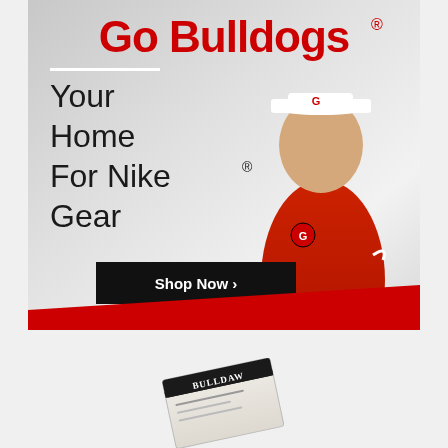Go Bulldogs®
Your Home For Nike® Gear
[Figure (photo): Man wearing red Georgia Bulldogs polo shirt and white visor with G logo, standing against light gray background]
Shop Now >
[Figure (photo): Partial view of a Bulldogs card or booklet at the bottom of the page]